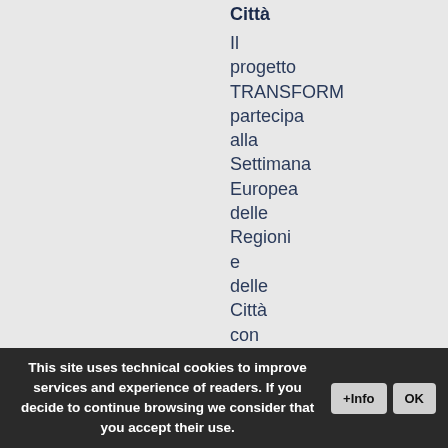Città
Il progetto TRANSFORM partecipa alla Settimana Europea delle Regioni e delle Città con il laboratorio partecipativo 'Citizen engagement TRANSFORMing regional R&I policymaking'. L'evento si
This site uses technical cookies to improve services and experience of readers. If you decide to continue browsing we consider that you accept their use.